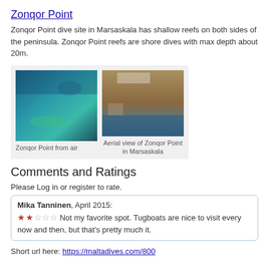Zonqor Point
Zonqor Point dive site in Marsaskala has shallow reefs on both sides of the peninsula. Zonqor Point reefs are shore dives with max depth about 20m.
[Figure (photo): Aerial photo of Zonqor Point from above showing shallow turquoise reef and blue sea]
Zonqor Point from air
[Figure (photo): Aerial view of Zonqor Point in Marsaskala showing arid coastline and blue sea]
Aerial view of Zonqor Point in Marsaskala
Comments and Ratings
Please Log in or register to rate.
Mika Tanninen, April 2015: ★★☆☆☆ Not my favorite spot. Tugboats are nice to visit every now and then, but that's pretty much it.
Short url here: https://maltadives.com/800